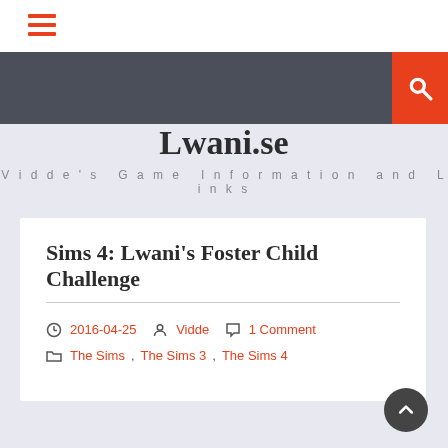Lwani.se — Vidde's Game Information and Links
Sims 4: Lwani's Foster Child Challenge
2016-04-25  Vidde  1 Comment  The Sims, The Sims 3, The Sims 4